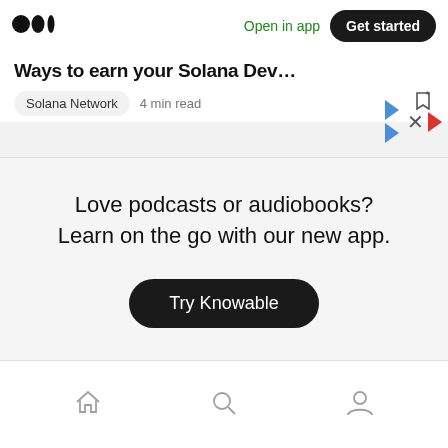Medium logo | Open in app | Get started
Ways to earn your Solana Dev…
Solana Network  4 min read
Love podcasts or audiobooks? Learn on the go with our new app.
Try Knowable
Home | Search | Profile